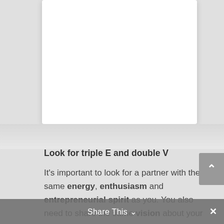[Figure (other): White card/panel area at the top of the page against a light gray background]
Look for triple E and double V
It's important to look for a partner with the same energy, enthusiasm and entrepreneurial spirit as you. You also need to share the same vision about your business and similar values. Strong communication is vital, so that together
Share This ˅  ✕